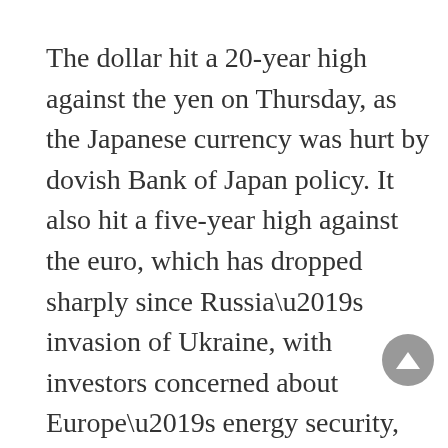The dollar hit a 20-year high against the yen on Thursday, as the Japanese currency was hurt by dovish Bank of Japan policy. It also hit a five-year high against the euro, which has dropped sharply since Russia’s invasion of Ukraine, with investors concerned about Europe’s energy security, inflation and growth.
“The broad story is obviously we’ve seen some broad-based dollar strength,” said Vassili Serebriakov, an FX strategist at UBS in New York. “There is a general story, which has more to do with concerns about the global cycle and that helps the dollar through risk aversion, but then there are some idiosyncratic stories like dollar/yen.”